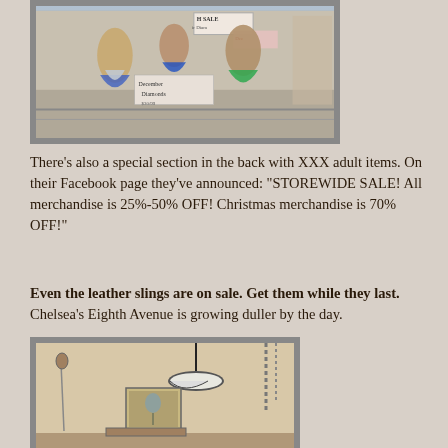[Figure (photo): Photo of mermaid figurines and sale signs displayed in a store. Signs mention 'H SALE', 'December Diamonds', '$30/99'.]
There's also a special section in the back with XXX adult items. On their Facebook page they've announced: "STOREWIDE SALE! All merchandise is 25%-50% OFF! Christmas merchandise is 70% OFF!"
Even the leather slings are on sale. Get them while they last. Chelsea's Eighth Avenue is growing duller by the day.
[Figure (photo): Interior photo of a shop or room with a hanging lamp, artwork on the wall, chains, and decorative items.]